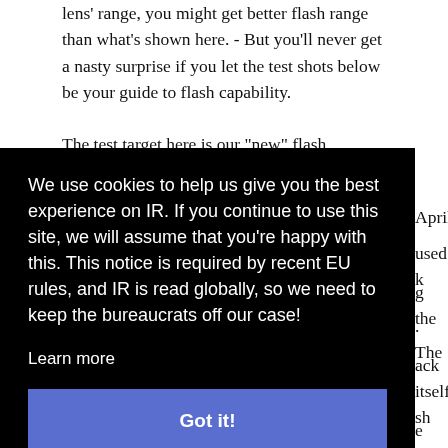lens' range, you might get better flash range than what's shown here. - But you'll never get a nasty surprise if you let the test shots below be your guide to flash capability.
The test target here is our "new" flash
We use cookies to help us give you the best experience on IR. If you continue to use this site, we will assume that you're happy with this. This notice is required by recent EU rules, and IR is read globally, so we need to keep the bureaucrats off our case!
Learn more
Got it!